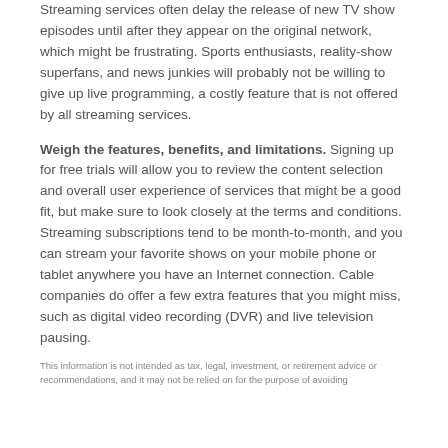Streaming services often delay the release of new TV show episodes until after they appear on the original network, which might be frustrating. Sports enthusiasts, reality-show superfans, and news junkies will probably not be willing to give up live programming, a costly feature that is not offered by all streaming services.
Weigh the features, benefits, and limitations. Signing up for free trials will allow you to review the content selection and overall user experience of services that might be a good fit, but make sure to look closely at the terms and conditions. Streaming subscriptions tend to be month-to-month, and you can stream your favorite shows on your mobile phone or tablet anywhere you have an Internet connection. Cable companies do offer a few extra features that you might miss, such as digital video recording (DVR) and live television pausing.
This information is not intended as tax, legal, investment, or retirement advice or recommendations, and it may not be relied on for the purpose of avoiding